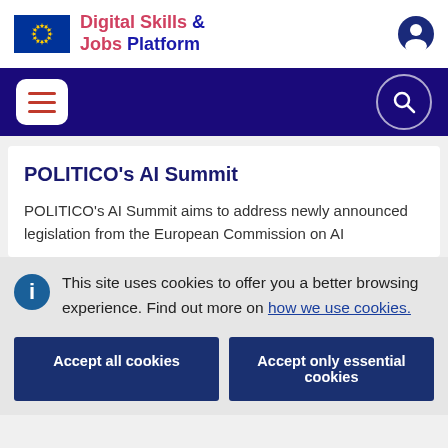[Figure (logo): EU Digital Skills & Jobs Platform logo with EU flag and platform name]
[Figure (screenshot): Navigation bar with hamburger menu and search icon on dark navy background]
POLITICO's AI Summit
POLITICO's AI Summit aims to address newly announced legislation from the European Commission on AI
This site uses cookies to offer you a better browsing experience. Find out more on how we use cookies.
Accept all cookies
Accept only essential cookies